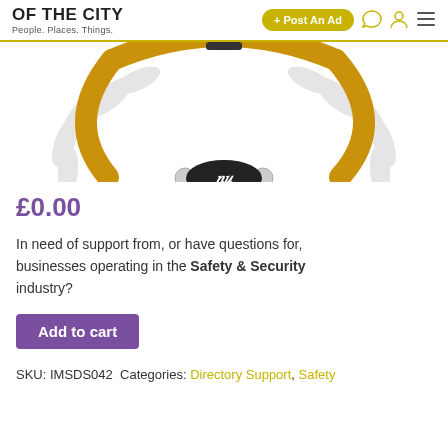OF THE CITY – People. Places. Things. | + Post An Ad
[Figure (illustration): Gold circular necklace/bracelet with a dark oval clasp featuring a stylized logo, overlaid on a grey laurel wreath graphic, partially cropped at the top.]
£0.00
In need of support from, or have questions for, businesses operating in the Safety & Security industry?
Add to cart
SKU: IMSDS042 Categories: Directory Support, Safety